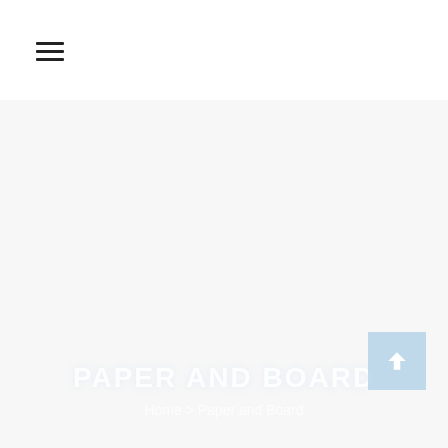PAPER AND BOARD
Home > Paper and Board